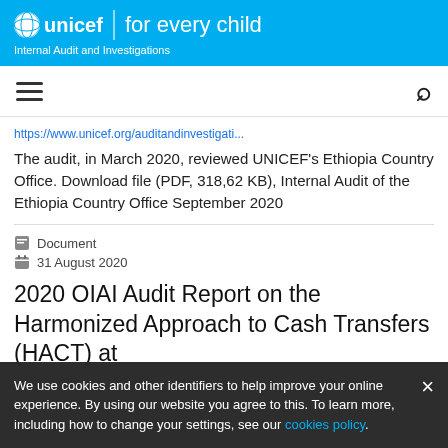unicef for every child — Internal Audit and Investigations
https://www.unicef.org/auditandinvestigati...
The audit, in March 2020, reviewed UNICEF's Ethiopia Country Office. Download file (PDF, 318,62 KB), Internal Audit of the Ethiopia Country Office September 2020
Document
31 August 2020
2020 OIAI Audit Report on the Harmonized Approach to Cash Transfers (HACT) at
We use cookies and other identifiers to help improve your online experience. By using our website you agree to this. To learn more, including how to change your settings, see our cookies policy.